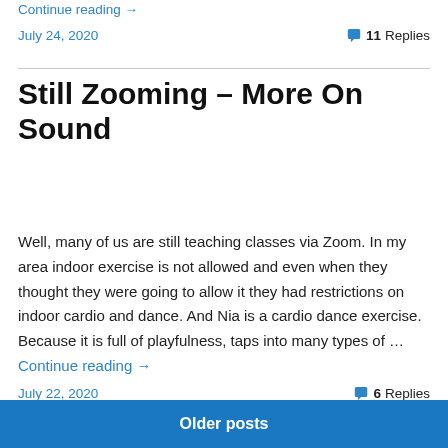Continue reading →
July 24, 2020    💬 11 Replies
Still Zooming – More On Sound
Well, many of us are still teaching classes via Zoom. In my area indoor exercise is not allowed and even when they thought they were going to allow it they had restrictions on indoor cardio and dance. And Nia is a cardio dance exercise. Because it is full of playfulness, taps into many types of … Continue reading →
July 22, 2020    💬 6 Replies
Older posts